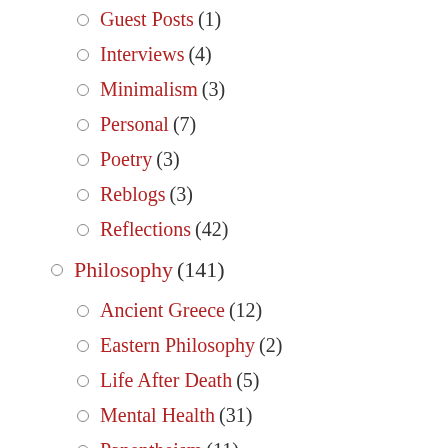Guest Posts (1)
Interviews (4)
Minimalism (3)
Personal (7)
Poetry (3)
Reblogs (3)
Reflections (42)
Philosophy (141)
Ancient Greece (12)
Eastern Philosophy (2)
Life After Death (5)
Mental Health (31)
Panentheism (11)
Philosophical Dialogue (4)
Political Philosophy (?)